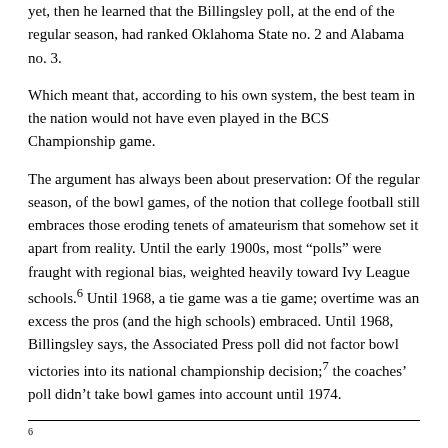yet, then he learned that the Billingsley poll, at the end of the regular season, had ranked Oklahoma State no. 2 and Alabama no. 3.
Which meant that, according to his own system, the best team in the nation would not have even played in the BCS Championship game.
The argument has always been about preservation: Of the regular season, of the bowl games, of the notion that college football still embraces those eroding tenets of amateurism that somehow set it apart from reality. Until the early 1900s, most “polls” were fraught with regional bias, weighted heavily toward Ivy League schools.6 Until 1968, a tie game was a tie game; overtime was an excess the pros (and the high schools) embraced. Until 1968, Billingsley says, the Associated Press poll did not factor bowl victories into its national championship decision;7 the coaches’ poll didn’t take bowl games into account until 1974.
6